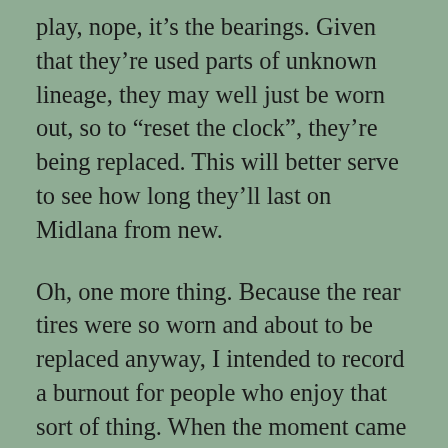play, nope, it's the bearings. Given that they're used parts of unknown lineage, they may well just be worn out, so to “reset the clock”, they're being replaced. This will better serve to see how long they'll last on Midlana from new.
Oh, one more thing. Because the rear tires were so worn and about to be replaced anyway, I intended to record a burnout for people who enjoy that sort of thing. When the moment came though, several things happened. One was that the location wasn’t quite as deserted as I would like, so there was some concern about undue attention. Another was that I discovered that I have a lot of sympathy for mechanical things and don’t enjoy subjecting the car to such antics. That said, I did do two, only they